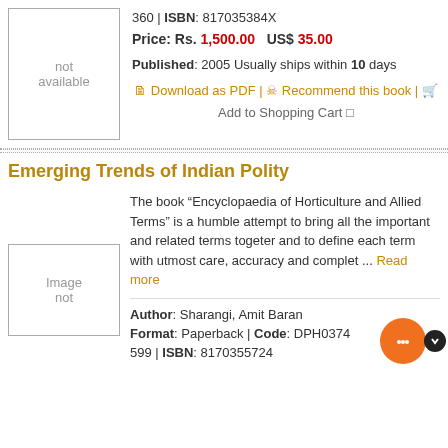[Figure (other): Book image placeholder - not available]
360 | ISBN: 817035384X
Price: Rs. 1,500.00   US$ 35.00
Published: 2005 Usually ships within 10 days
Download as PDF | Recommend this book | Add to Shopping Cart
Emerging Trends of Indian Polity
The book “Encyclopaedia of Horticulture and Allied Terms” is a humble attempt to bring all the important and related terms togeter and to define each term with utmost care, accuracy and complet ... Read more
Author: Sharangi, Amit Baran
Format: Paperback | Code: DPH0374
599 | ISBN: 8170355724
[Figure (other): Book image placeholder - Image not]